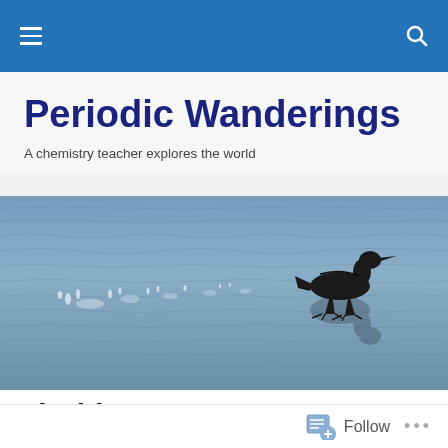Periodic Wanderings — navigation bar
Periodic Wanderings
A chemistry teacher explores the world
[Figure (photo): Silhouette of a bird (duck or loon) skimming across rippling blue-grey water, with splashing water trail behind it]
Florida Wrap-Up
Follow  ...